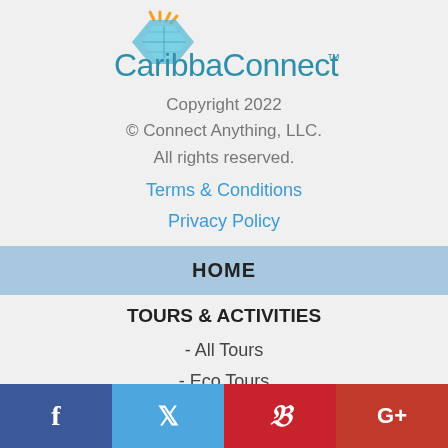[Figure (logo): CaribbaConnect logo with stylized map/sun icon and teal wordmark with TM symbol]
Copyright 2022
© Connect Anything, LLC.
All rights reserved.
Terms & Conditions
Privacy Policy
HOME
TOURS & ACTIVITIES
- All Tours
- Eco Tours
- Excursions & Day Sails
[Figure (infographic): Social media bar with Facebook, Twitter, Pinterest, and Google+ icons]